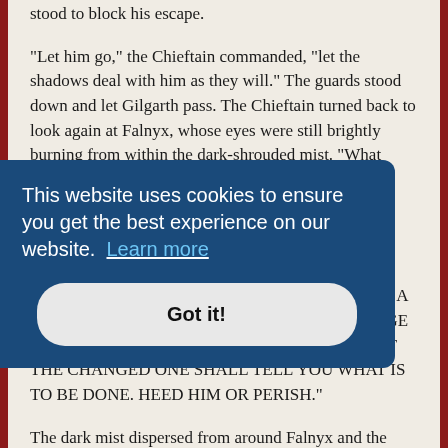stood to block his escape.
"Let him go," the Chieftain commanded, "let the shadows deal with him as they will." The guards stood down and let Gilgarth pass. The Chieftain turned back to look again at Falnyx, whose eyes were still brightly burning from within the dark-shrouded mist. "What would you have us do?"
"THOU SHALT DECREE AMONG ALL THE PEOPLE OF ALTHRINAR THAT THE DAY OF AWAKENING IS AT HAND, THAT THEY ARE AMONG THE CHOSEN, AND THAT THEY HAVE A WORK TO DO. THOU SHALT KEEP THY CHARGE AS CHIEFTAIN AND DIRECT THY PEOPLE, BUT THE CHANGED ONE SHALL TELL YOU WHAT IS TO BE DONE. HEED HIM OR PERISH."
The dark mist dispersed from around Falnyx and the purple flames in his eyes faded. A few ...
...it had ... But I ...always ...believe your story because he saw it as a threat to his own power and